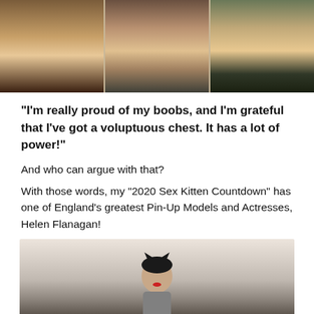[Figure (photo): Three side-by-side photos of a woman posing with hands covering chest]
“I’m really proud of my boobs, and I’m grateful that I’ve got a voluptuous chest. It has a lot of power!”
And who can argue with that?
With those words, my “2020 Sex Kitten Countdown” has one of England’s greatest Pin-Up Models and Actresses, Helen Flanagan!
[Figure (photo): Photo of Helen Flanagan wearing cat ears]